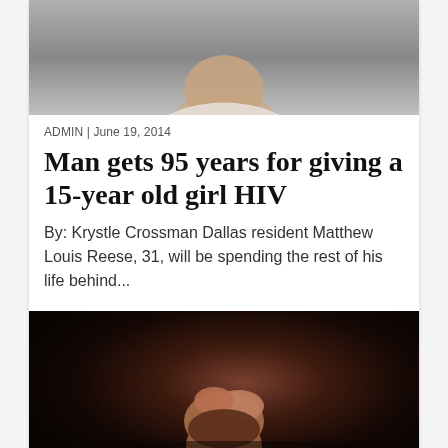[Figure (photo): Partial photo of a man, cropped showing face/neck area, gray background]
ADMIN | June 19, 2014
Man gets 95 years for giving a 15-year old girl HIV
By: Krystle Crossman Dallas resident Matthew Louis Reese, 31, will be spending the rest of his life behind...
[Figure (photo): Man bowing his head with hands clasped together, dark background, somber mood]